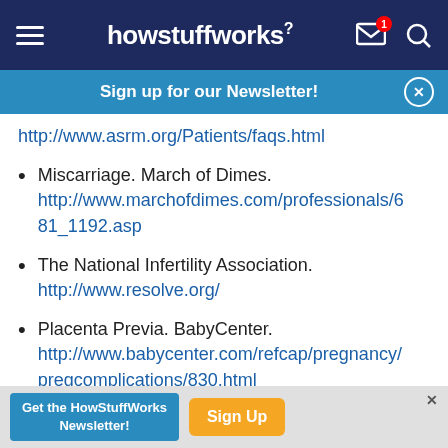howstuffworks
Sign up for our Newsletter!
http://www.asrm.org/Patients/faqs.html
Miscarriage. March of Dimes. http://www.marchofdimes.com/professionals/681_1192.asp
The National Infertility Association. http://www.resolve.org/
Placenta Previa. BabyCenter. http://www.babycenter.com/refcap/pregnancy/pregcomplications/830.html
Planning for Pregnancy: Ohio State University
Get the HowStuffWorks Newsletter! Sign Up